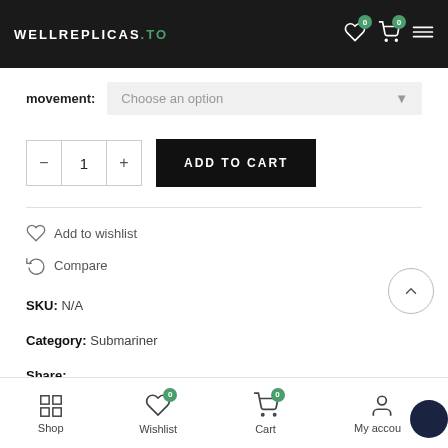WELLREPLICAS.TO
movement: Choose an option
- 1 + ADD TO CART
Add to wishlist
Compare
SKU: N/A
Category: Submariner
Share:
Shop  Wishlist  Cart  My account